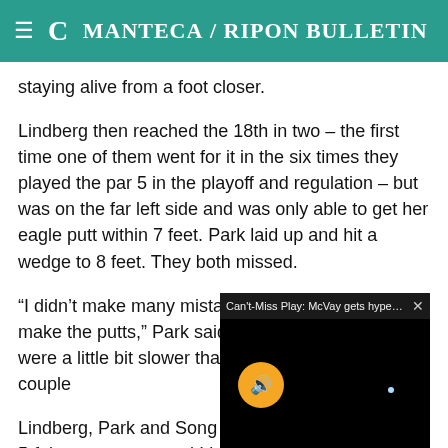Manteca / Ripon Bulletin
staying alive from a foot closer.
Lindberg then reached the 18th in two – the first time one of them went for it in the six times they played the par 5 in the playoff and regulation – but was on the far left side and was only able to get her eagle putt within 7 feet. Park laid up and hit a wedge to 8 feet. They both missed.
“I didn’t make many mistakes, but I just couldn’t make the putts,” Park said. “The morning greens were a little bit slower than I anticipated. I hit a couple opportunities.”
[Figure (screenshot): Video popup overlay with title 'Can't-Miss Play: McVay gets hyped for R...' and a mute button on black background]
Lindberg, Park and Song b to 15 under first with a 5-f the next group and Lindbe and Song shot 5-under 67,